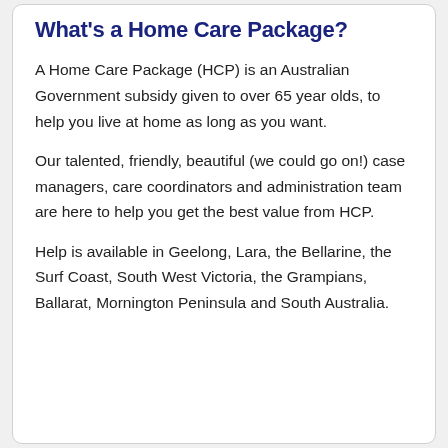What's a Home Care Package?
A Home Care Package (HCP) is an Australian Government subsidy given to over 65 year olds, to help you live at home as long as you want.
Our talented, friendly, beautiful (we could go on!) case managers, care coordinators and administration team are here to help you get the best value from HCP.
Help is available in Geelong, Lara, the Bellarine, the Surf Coast, South West Victoria, the Grampians, Ballarat, Mornington Peninsula and South Australia.